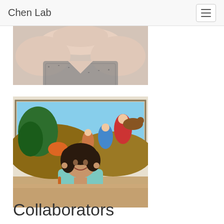Chen Lab
[Figure (photo): Cropped photo showing the upper body of a person wearing a gray patterned tank top, with bare shoulders visible.]
[Figure (photo): Photo of a young woman with dark short hair wearing a light teal t-shirt, standing in front of a large colorful painting depicting figures in a dynamic landscape scene.]
Collaborators